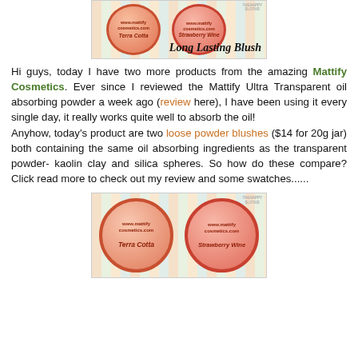[Figure (photo): Two circular blush powder jars labeled Terra Cotta and Strawberry Wine on a striped pastel background with text Long Lasting Blush]
Hi guys, today I have two more products from the amazing Mattify Cosmetics. Ever since I reviewed the Mattify Ultra Transparent oil absorbing powder a week ago (review here), I have been using it every single day, it really works quite well to absorb the oil!
Anyhow, today's product are two loose powder blushes ($14 for 20g jar) both containing the same oil absorbing ingredients as the transparent powder- kaolin clay and silica spheres. So how do these compare? Click read more to check out my review and some swatches......
[Figure (photo): Two circular blush powder jars labeled Terra Cotta and Strawberry Wine on a striped pastel background, closer view]